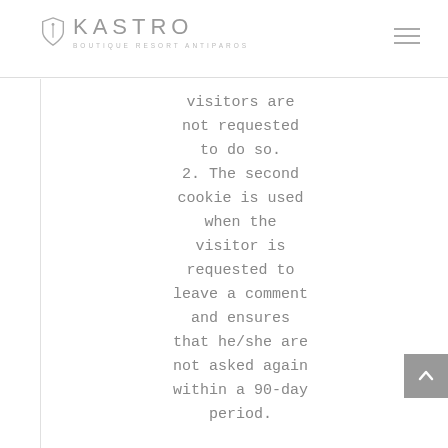[Figure (logo): Kastro Boutique Resort Antiparos logo with shield/pin icon and hamburger menu icon]
visitors are not requested to do so.
2. The second cookie is used when the visitor is requested to leave a comment and ensures that he/she are not asked again within a 90-day period.